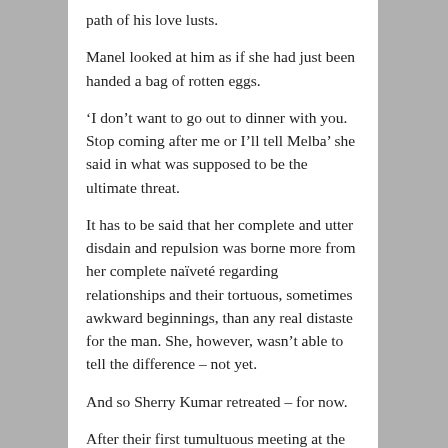path of his love lusts.
Manel looked at him as if she had just been handed a bag of rotten eggs.
‘I don’t want to go out to dinner with you. Stop coming after me or I’ll tell Melba’ she said in what was supposed to be the ultimate threat.
It has to be said that her complete and utter disdain and repulsion was borne more from her complete naïveté regarding relationships and their tortuous, sometimes awkward beginnings, than any real distaste for the man. She, however, wasn’t able to tell the difference – not yet.
And so Sherry Kumar retreated – for now.
After their first tumultuous meeting at the foot of the stairs, life had gone back to being